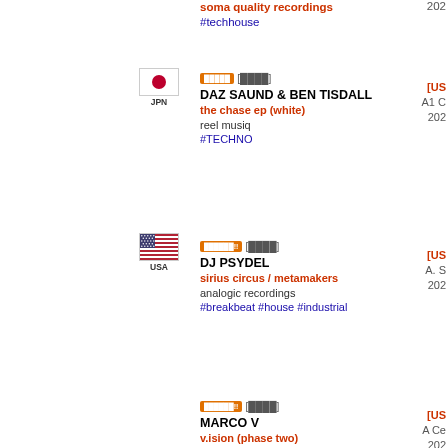soma quality recordings #techhouse 2022
[JPN] DAZ SAUND & BEN TISDALL - the chase ep (white) - reel musiq - #TECHNO - 2022
[USA] DJ PSYDEL - sirius circus / metamakers - analogic recordings - #breakbeat #house #industrial - 2022
MARCO V - v.ision (phase two) - free for all - #trance #techtrance - 2022
HENRIK B - ricochet part 2 - illgorhythm recordings - #TECHNO - 2022
TOM MIDDLETON - kalahari - kostbar - #TECHNO #HOUSE #FUNKY #TRIBAL #TECHHOUSE #PERCUSSIVE #LATIN #MOODY - 2022
DRED BASS - what's the time - movin' + groovin' - 2022